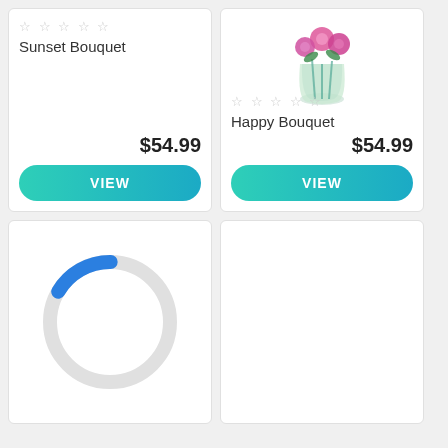Sunset Bouquet - $54.99
Happy Bouquet - $54.99
[Figure (other): Loading spinner circle, mostly gray with a small blue arc segment at bottom-right]
[Figure (photo): Flower bouquet in a glass vase with pink and purple flowers]